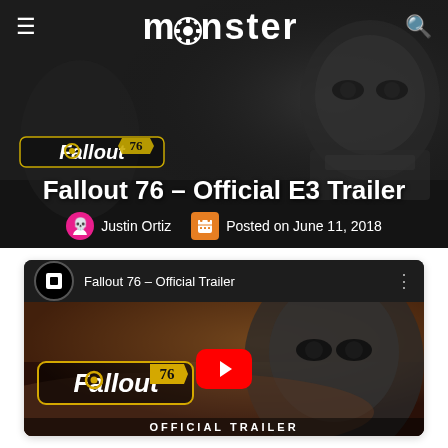monster
Fallout 76 – Official E3 Trailer
Justin Ortiz   Posted on June 11, 2018
[Figure (screenshot): YouTube embedded video player showing Fallout 76 – Official Trailer with red play button overlay and Fallout 76 logo on thumbnail]